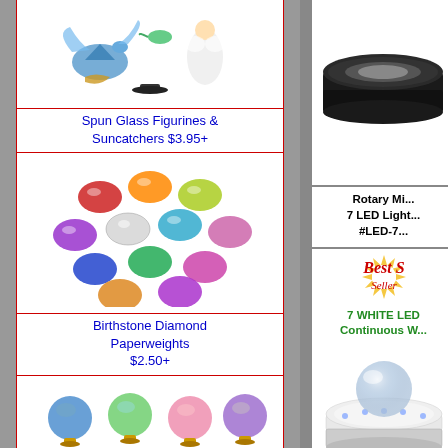[Figure (photo): Spun glass figurines and suncatchers product photo - dragons, angel, hummingbird figurines]
Spun Glass Figurines & Suncatchers $3.95+
[Figure (photo): Birthstone diamond paperweights - colorful oval gemstone shapes arranged in a group]
Birthstone Diamond Paperweights $2.50+
[Figure (photo): Birthstone crystal balls - colorful small crystal balls on golden stands arranged in a grid]
Birthstone Crystal Balls $6.95
[Figure (photo): Single iridescent crystal ball glowing with light]
[Figure (photo): Rotary mirror LED display stand - black circular motorized display]
Rotary Mi... 7 LED Light... #LED-7...
[Figure (photo): Best Seller badge with sunburst rays]
7 WHITE LED Continuous W...
[Figure (photo): White LED rotary display base with crystal ball on top]